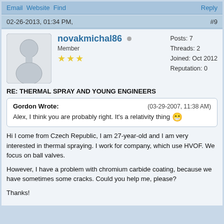Email Website Find   Reply
02-26-2013, 01:34 PM,   #9
novakmichal86  Member ★★★  Posts: 7  Threads: 2  Joined: Oct 2012  Reputation: 0
RE: THERMAL SPRAY AND YOUNG ENGINEERS
Gordon Wrote:   (03-29-2007, 11:38 AM)
Alex, I think you are probably right. It's a relativity thing 😁
Hi I come from Czech Republic, I am 27-year-old and I am very interested in thermal spraying. I work for company, which use HVOF. We focus on ball valves.

However, I have a problem with chromium carbide coating, because we have sometimes some cracks. Could you help me, please?

Thanks!